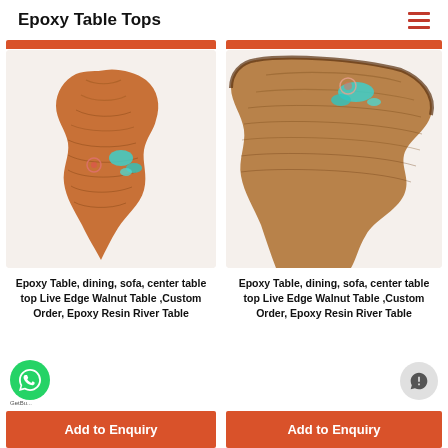Epoxy Table Tops
[Figure (photo): Photo of a live edge walnut wood slab with turquoise epoxy resin inlays, displayed against a light beige background]
Epoxy Table, dining, sofa, center table top Live Edge Walnut Table ,Custom Order, Epoxy Resin River Table
Add to Enquiry
[Figure (photo): Photo of a live edge wood slab with turquoise epoxy resin inlays viewed from above, displayed against a light beige background]
Epoxy Table, dining, sofa, center table top Live Edge Walnut Table ,Custom Order, Epoxy Resin River Table
Add to Enquiry